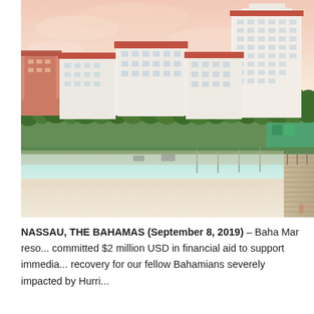[Figure (photo): Aerial/elevated view of Baha Mar resort in Nassau, The Bahamas. Shows white sandy beach in the foreground with turquoise water, a boardwalk/pier on the right side, palm trees lining the resort grounds, and several large white hotel buildings with terracotta/red roofs including a tall tower on the right. Pastel pink and peach sky in the background.]
NASSAU, THE BAHAMAS (September 8, 2019) – Baha Mar reso... committed $2 million USD in financial aid to support immedia... recovery for our fellow Bahamians severely impacted by Hurri...